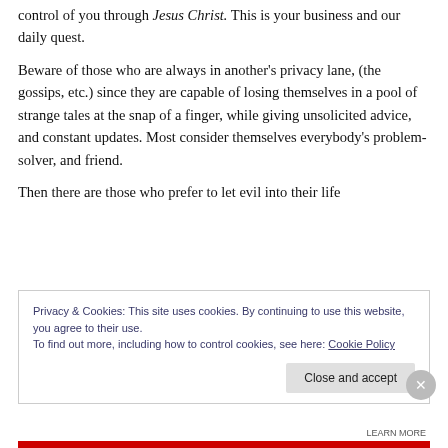control of you through Jesus Christ. This is your business and our daily quest.
Beware of those who are always in another's privacy lane, (the gossips, etc.) since they are capable of losing themselves in a pool of strange tales at the snap of a finger, while giving unsolicited advice, and constant updates. Most consider themselves everybody's problem-solver, and friend.
Then there are those who prefer to let evil into their life
Privacy & Cookies: This site uses cookies. By continuing to use this website, you agree to their use.
To find out more, including how to control cookies, see here: Cookie Policy
Close and accept